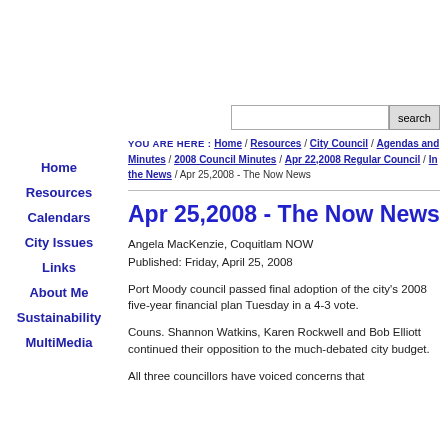Home
Resources
Calendars
City Issues
Links
About Me
Sustainability
MultiMedia
YOU ARE HERE : Home / Resources / City Council / Agendas and Minutes / 2008 Council Minutes / Apr 22,2008 Regular Council / In the News / Apr 25,2008 - The Now News
Apr 25,2008 - The Now News
Angela MacKenzie, Coquitlam NOW
Published: Friday, April 25, 2008
Port Moody council passed final adoption of the city's 2008 five-year financial plan Tuesday in a 4-3 vote.
Couns. Shannon Watkins, Karen Rockwell and Bob Elliott continued their opposition to the much-debated city budget.
All three councillors have voiced concerns that